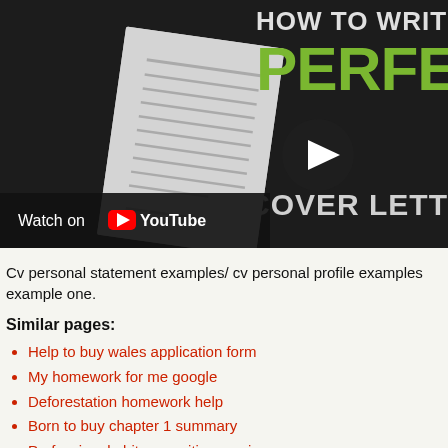[Figure (screenshot): YouTube video thumbnail showing 'How to Write the Perfect Cover Letter' with a document illustration and YouTube play button. Bottom-left shows 'Watch on YouTube' bar.]
Cv personal statement examples/ cv personal profile examples example one.
Similar pages:
Help to buy wales application form
My homework for me google
Deforestation homework help
Born to buy chapter 1 summary
Professional obituary writing service